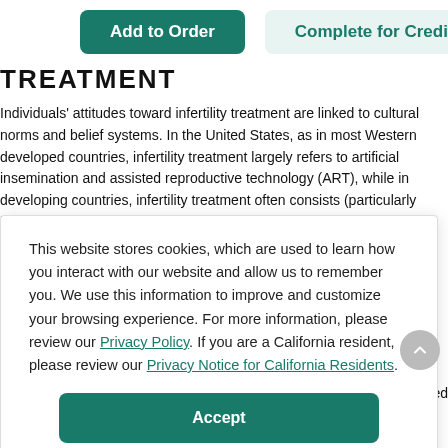[Figure (screenshot): Two buttons: 'Add to Order' (dark teal) and 'Complete for Credit' (light teal/grey)]
TREATMENT
Individuals' attitudes toward infertility treatment are linked to cultural norms and belief systems. In the United States, as in most Western developed countries, infertility treatment largely refers to artificial insemination and assisted reproductive technology (ART), while in developing countries, infertility treatment often consists (particularly initially) of alternative treatments, such as herbal
This website stores cookies, which are used to learn how you interact with our website and allow us to remember you. We use this information to improve and customize your browsing experience. For more information, please review our Privacy Policy. If you are a California resident, please review our Privacy Notice for California Residents.
Accept
g donated sperm and eggs was unacceptable [69,105]. Donated sperm was perceived to be